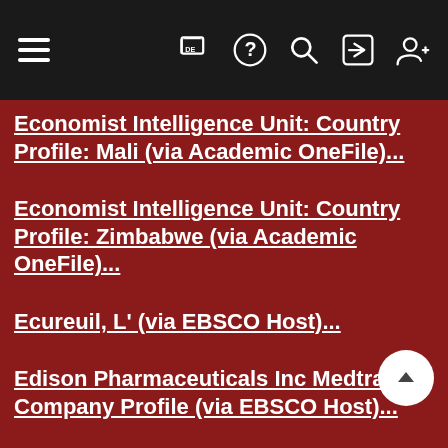Navigation bar with menu, DE language flag, help, search, login, and register icons
Economist Intelligence Unit: Country Profile: Mali (via Academic OneFile)...
Economist Intelligence Unit: Country Profile: Zimbabwe (via Academic OneFile)...
Ecureuil, L' (via EBSCO Host)...
Edison Pharmaceuticals Inc Medtrack Company Profile (via EBSCO Host)...
Educação em Foco...